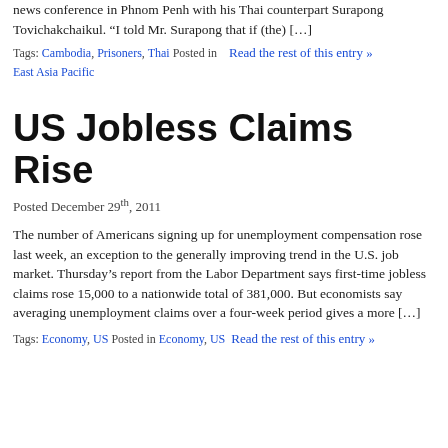news conference in Phnom Penh with his Thai counterpart Surapong Tovichakchaikul. “I told Mr. Surapong that if (the) […]
Tags: Cambodia, Prisoners, Thai Posted in Read the rest of this entry » East Asia Pacific
US Jobless Claims Rise
Posted December 29th, 2011
The number of Americans signing up for unemployment compensation rose last week, an exception to the generally improving trend in the U.S. job market. Thursday’s report from the Labor Department says first-time jobless claims rose 15,000 to a nationwide total of 381,000. But economists say averaging unemployment claims over a four-week period gives a more […]
Tags: Economy, US Posted in Economy, US Read the rest of this entry »